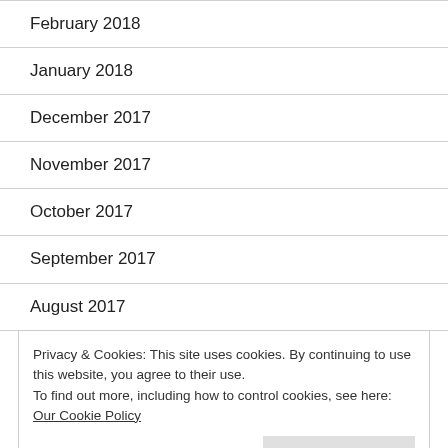February 2018
January 2018
December 2017
November 2017
October 2017
September 2017
August 2017
Privacy & Cookies: This site uses cookies. By continuing to use this website, you agree to their use.
To find out more, including how to control cookies, see here: Our Cookie Policy
April 2017